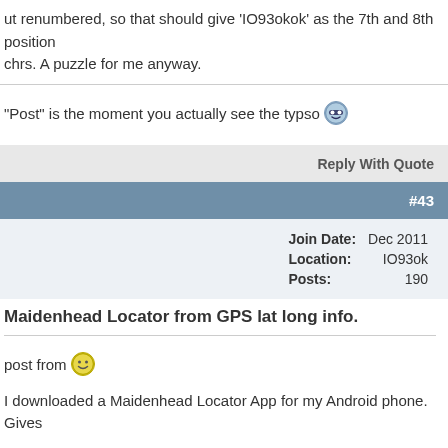ut renumbered, so that should give 'IO93okok' as the 7th and 8th position chrs. A puzzle for me anyway.
"Post" is the moment you actually see the typso 😎
Reply With Quote
#43
| Field | Value |
| --- | --- |
| Join Date: | Dec 2011 |
| Location: | IO93ok |
| Posts: | 190 |
Maidenhead Locator from GPS lat long info.
post from 🙂
I downloaded a Maidenhead Locator App for my Android phone. Gives